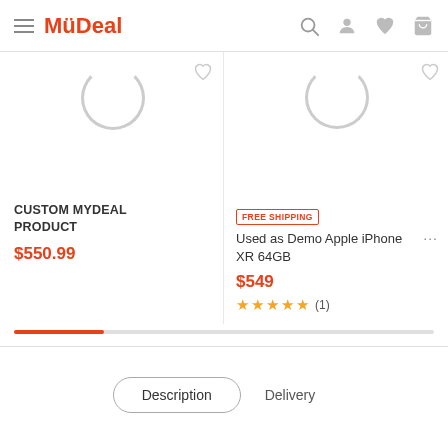MyDeal
[Figure (screenshot): Loading spinner circle for left product image]
[Figure (screenshot): Loading spinner circle for right product image]
CUSTOM MYDEAL PRODUCT
$550.99
FREE SHIPPING
Used as Demo Apple iPhone XR 64GB
$549
★★★★★ (1)
Description
Delivery